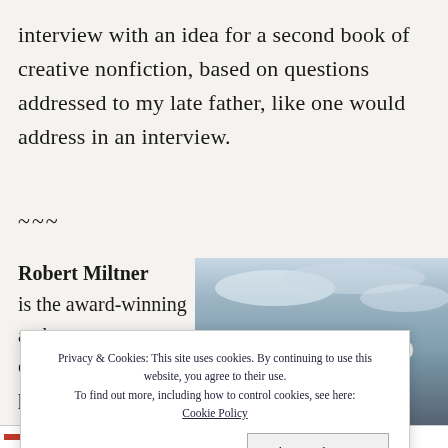interview with an idea for a second book of creative nonfiction, based on questions addressed to my late father, like one would address in an interview.
~~~
Robert Miltner is the award-winning author of two books of
[Figure (photo): Portrait photo of Robert Miltner wearing a dark beret, outdoors with a cloudy sky background]
Privacy & Cookies: This site uses cookies. By continuing to use this website, you agree to their use.
To find out more, including how to control cookies, see here: Cookie Policy
Close and accept